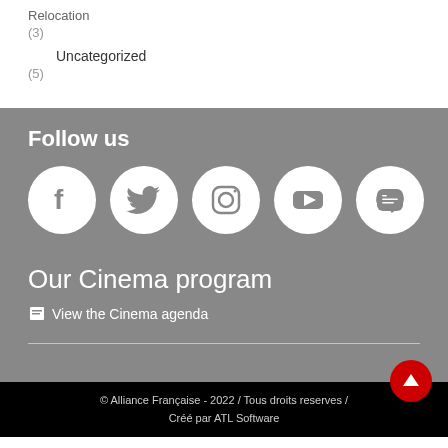Relocation
(3)
Uncategorized
(5)
Follow us
[Figure (illustration): Five social media icons in white circles on gray background: Facebook, Twitter, Instagram, YouTube, LINE]
Our Cinema program
View the Cinema agenda
© Alliance Française - 2022 / Tous droits reserves / Créé par ATL Software